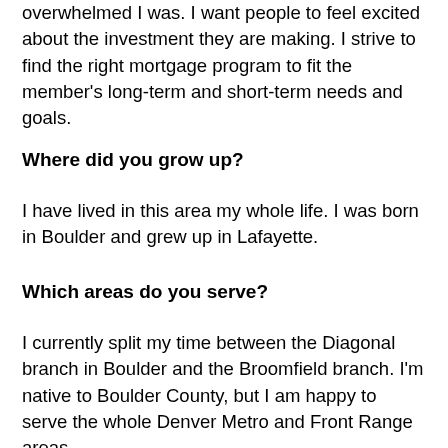overwhelmed I was. I want people to feel excited about the investment they are making. I strive to find the right mortgage program to fit the member's long-term and short-term needs and goals.
Where did you grow up?
I have lived in this area my whole life. I was born in Boulder and grew up in Lafayette.
Which areas do you serve?
I currently split my time between the Diagonal branch in Boulder and the Broomfield branch. I'm native to Boulder County, but I am happy to serve the whole Denver Metro and Front Range areas.